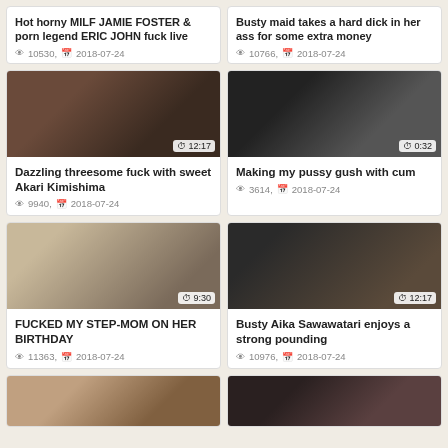Hot horny MILF JAMIE FOSTER & porn legend ERIC JOHN fuck live | 10530, 2018-07-24
Busty maid takes a hard dick in her ass for some extra money | 10766, 2018-07-24
[Figure (photo): Video thumbnail showing women, duration 12:17]
Dazzling threesome fuck with sweet Akari Kimishima | 9940, 2018-07-24
[Figure (photo): Video thumbnail showing woman, duration 0:32]
Making my pussy gush with cum | 3614, 2018-07-24
[Figure (photo): Video thumbnail showing woman in blue dress, duration 9:30]
FUCKED MY STEP-MOM ON HER BIRTHDAY | 11363, 2018-07-24
[Figure (photo): Video thumbnail showing woman, duration 12:17]
Busty Aika Sawawatari enjoys a strong pounding | 10976, 2018-07-24
[Figure (photo): Partial video thumbnail bottom row left]
[Figure (photo): Partial video thumbnail bottom row right]